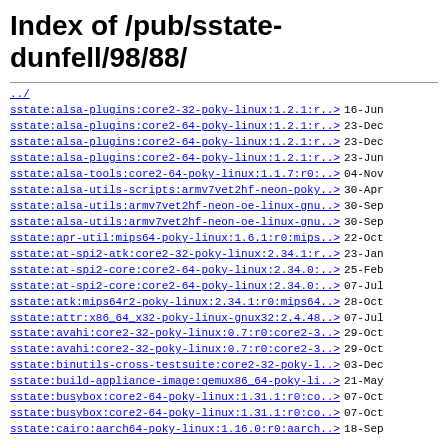Index of /pub/sstate-dunfell/98/88/
../
sstate:alsa-plugins:core2-32-poky-linux:1.2.1:r..> 16-Jun
sstate:alsa-plugins:core2-64-poky-linux:1.2.1:r..> 23-Dec
sstate:alsa-plugins:core2-64-poky-linux:1.2.1:r..> 23-Dec
sstate:alsa-plugins:core2-64-poky-linux:1.2.1:r..> 23-Jun
sstate:alsa-tools:core2-64-poky-linux:1.1.7:r0:..> 04-Nov
sstate:alsa-utils-scripts:armv7vet2hf-neon-poky..> 30-Apr
sstate:alsa-utils:armv7vet2hf-neon-oe-linux-gnu..> 30-Sep
sstate:alsa-utils:armv7vet2hf-neon-oe-linux-gnu..> 30-Sep
sstate:apr-util:mips64-poky-linux:1.6.1:r0:mips..> 22-Oct
sstate:at-spi2-atk:core2-32-poky-linux:2.34.1:r..> 23-Jan
sstate:at-spi2-core:core2-64-poky-linux:2.34.0:..> 25-Feb
sstate:at-spi2-core:core2-64-poky-linux:2.34.0:..> 07-Jul
sstate:atk:mips64r2-poky-linux:2.34.1:r0:mips64..> 28-Oct
sstate:attr:x86_64_x32-poky-linux-gnux32:2.4.48..> 07-Jul
sstate:avahi:core2-32-poky-linux:0.7:r0:core2-3..> 29-Oct
sstate:avahi:core2-32-poky-linux:0.7:r0:core2-3..> 29-Oct
sstate:binutils-cross-testsuite:core2-32-poky-l..> 03-Dec
sstate:build-appliance-image:qemux86_64-poky-li..> 21-May
sstate:busybox:core2-64-poky-linux:1.31.1:r0:co..> 07-Oct
sstate:busybox:core2-64-poky-linux:1.31.1:r0:co..> 07-Oct
sstate:cairo:aarch64-poky-linux:1.16.0:r0:aarch..> 18-Sep